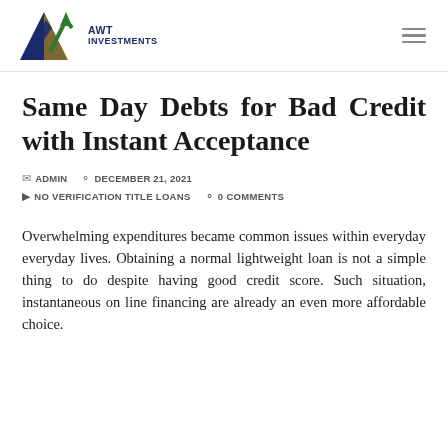AWT INVESTMENTS
Same Day Debts for Bad Credit with Instant Acceptance
ADMIN   DECEMBER 21, 2021
NO VERIFICATION TITLE LOANS   0 COMMENTS
Overwhelming expenditures became common issues within everyday everyday lives. Obtaining a normal lightweight loan is not a simple thing to do despite having good credit score. Such situation, instantaneous on line financing are already an even more affordable choice.